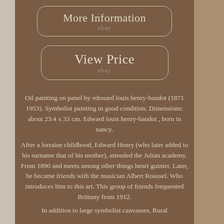[Figure (screenshot): Button with rounded rectangle border labeled 'More Information' with 'ebay' subtitle below]
[Figure (screenshot): Button with rounded rectangle border labeled 'View Price' with 'ebay' subtitle below]
Oil painting on panel by edouard louis henry-baudot (1871 1953). Symbolist painting in good condition. Dimensions: about 23.4 x 33 cm. Edward louis henry-baudot , born in nancy.
After a lorraine childhood, Edward Henry (who later added to his surname that of his mother), attended the Julian academy. From 1890 and meets among other things henri guinier. Later, he became friends with the musician Albert Roussel. Who introduces him to this art. This group of friends frequented Brittany from 1912.
In addition to large symbolist canvasses, Rural